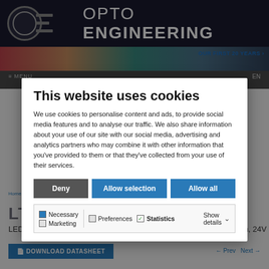OPTO ENGINEERING
This website uses cookies
We use cookies to personalise content and ads, to provide social media features and to analyse our traffic. We also share information about your use of our site with our social media, advertising and analytics partners who may combine it with other information that you've provided to them or that they've collected from your use of their services.
Deny | Allow selection | Allow all
Necessary  Preferences  Statistics  Show details  Marketing
LED bar light, 6 LED rows, 160x26.3 illumination area, green, 525 nm, 24V
DOWNLOAD DATASHEET
← Prev  Next →